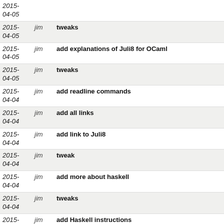| date | author | message |
| --- | --- | --- |
| 2015-04-05 | jim | tweaks |
| 2015-04-05 | jim | add explanations of Juli8 for OCaml |
| 2015-04-05 | jim | tweaks |
| 2015-04-04 | jim | add readline commands |
| 2015-04-04 | jim | add all links |
| 2015-04-04 | jim | add link to Juli8 |
| 2015-04-04 | jim | tweak |
| 2015-04-04 | jim | add more about haskell |
| 2015-04-04 | jim | tweaks |
| 2015-04-04 | jim | add Haskell instructions |
| 2015-04-04 | jim | update for rename of topics/week9_using_the_juli8_libraries... |
| 2015-04-04 | jim | rename topics/week9_using_the_juli8_libraries.mdwn... |
| 2015-04-04 | jim | tweaks |